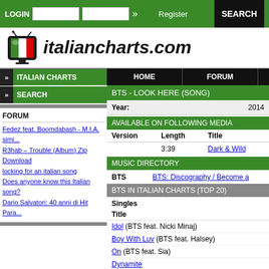LOGIN | Register | SEARCH
[Figure (logo): italiancharts.com logo with Italian flag graphic]
ITALIAN CHARTS
SEARCH
HOME | FORUM
BTS - LOOK HERE (SONG)
Year: 2014
AVAILABLE ON FOLLOWING MEDIA
| Version | Length | Title |
| --- | --- | --- |
|  | 3:39 | Dark & Wild |
MUSIC DIRECTORY
BTS  BTS: Discography / Become a
BTS IN ITALIAN CHARTS (TOP 20)
Singles
Title
Idol (BTS feat. Nicki Minaj)
Boy With Luv (BTS feat. Halsey)
On (BTS feat. Sia)
Dynamite
Life Goes On
FORUM
Fedez feat. Boomdabash - M.I.A. simi...
R3hab – Trouble (Album) Zip Download
locking for an italian song
Does anyone know this Italian song?
Dario Salvatori: 40 anni di Hit Para...